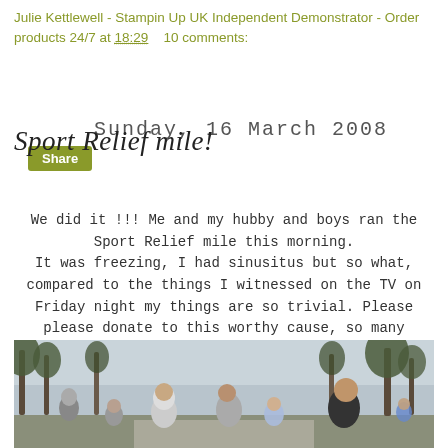Julie Kettlewell - Stampin Up UK Independent Demonstrator - Order products 24/7 at 18:29    10 comments:
Share
Sport Relief mile!
Sunday, 16 March 2008
We did it !!! Me and my hubby and boys ran the Sport Relief mile this morning. It was freezing, I had sinusitus but so what, compared to the things I witnessed on the TV on Friday night my things are so trivial. Please please donate to this worthy cause, so many different charities benefit from the money raised.
[Figure (photo): Group of people running in a park during the Sport Relief mile event, trees visible in background.]